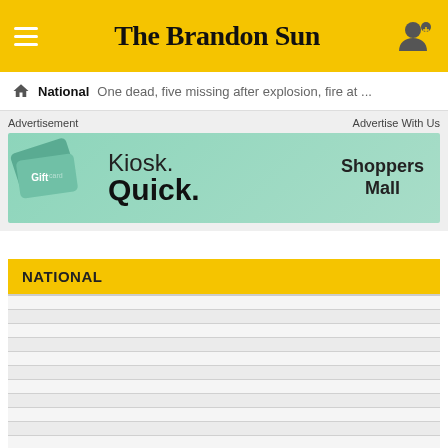The Brandon Sun
National  One dead, five missing after explosion, fire at ...
[Figure (other): Advertisement banner for Gift Cards at Kiosk. Quick. Shoppers Mall]
NATIONAL
LOAD MORE NATIONAL